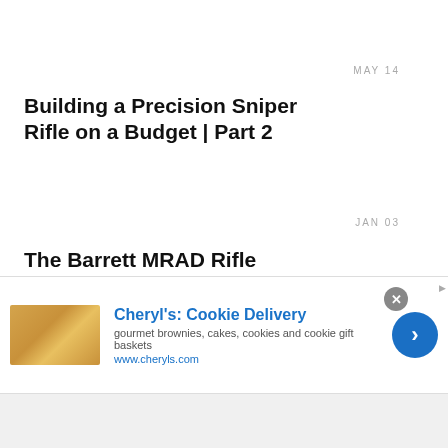MAY 14
Building a Precision Sniper Rifle on a Budget | Part 2
JAN 03
The Barrett MRAD Rifle
APR 09
[Figure (infographic): Advertisement banner for Cheryl's Cookie Delivery showing logo image, title link, description text, URL, close button, and arrow button]